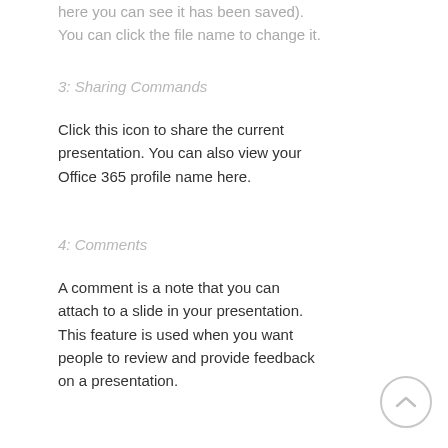here you can see it has been saved). You can click the file name to change it.
3: Sharing Commands
Click this icon to share the current presentation. You can also view your Office 365 profile name here.
4: Comments
A comment is a note that you can attach to a slide in your presentation. This feature is used when you want people to review and provide feedback on a presentation.